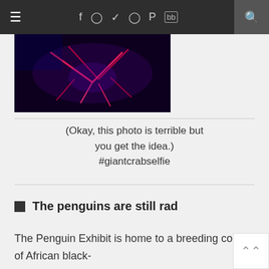≡  f  ○  ✓  ○  ℗  ▶  🔍
[Figure (photo): Dark photo with red/pink neon light streaks, presumably a giant crab selfie in low light]
(Okay, this photo is terrible but you get the idea.) #giantcrabselfie
The penguins are still rad
The Penguin Exhibit is home to a breeding colony of African black-footed penguins (also known as...